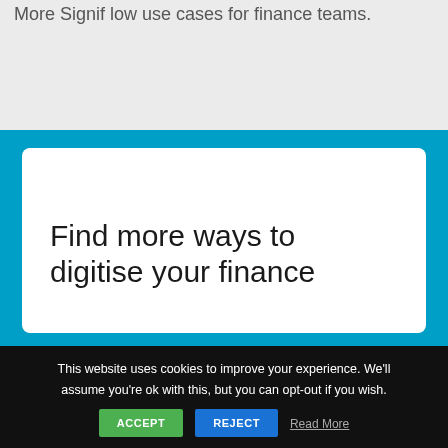More Signif low use cases for finance teams.
Find more ways to digitise your finance
This website uses cookies to improve your experience. We'll assume you're ok with this, but you can opt-out if you wish.
ACCEPT   REJECT   Read More